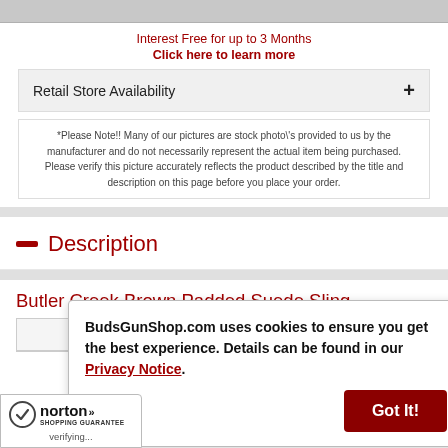Interest Free for up to 3 Months
Click here to learn more
Retail Store Availability
*Please Note!! Many of our pictures are stock photo\'s provided to us by the manufacturer and do not necessarily represent the actual item being purchased. Please verify this picture accurately reflects the product described by the title and description on this page before you place your order.
Description
Butler Creek Brown Padded Suede Sling
| Model | Condition |
| --- | --- |
BudsGunShop.com uses cookies to ensure you get the best experience. Details can be found in our Privacy Notice.